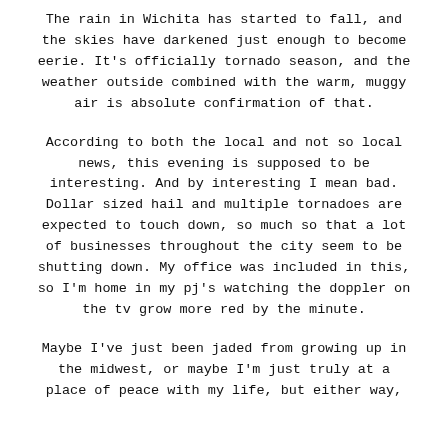The rain in Wichita has started to fall, and the skies have darkened just enough to become eerie. It's officially tornado season, and the weather outside combined with the warm, muggy air is absolute confirmation of that.
According to both the local and not so local news, this evening is supposed to be interesting. And by interesting I mean bad. Dollar sized hail and multiple tornadoes are expected to touch down, so much so that a lot of businesses throughout the city seem to be shutting down. My office was included in this, so I'm home in my pj's watching the doppler on the tv grow more red by the minute.
Maybe I've just been jaded from growing up in the midwest, or maybe I'm just truly at a place of peace with my life, but either way,